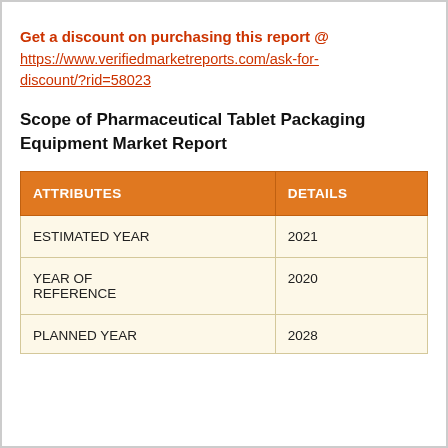Get a discount on purchasing this report @ https://www.verifiedmarketreports.com/ask-for-discount/?rid=58023
Scope of Pharmaceutical Tablet Packaging Equipment Market Report
| ATTRIBUTES | DETAILS |
| --- | --- |
| ESTIMATED YEAR | 2021 |
| YEAR OF REFERENCE | 2020 |
| PLANNED YEAR | 2028 |